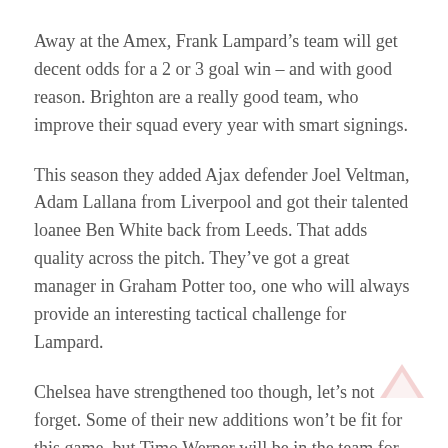Away at the Amex, Frank Lampard’s team will get decent odds for a 2 or 3 goal win – and with good reason. Brighton are a really good team, who improve their squad every year with smart signings.
This season they added Ajax defender Joel Veltman, Adam Lallana from Liverpool and got their talented loanee Ben White back from Leeds. That adds quality across the pitch. They’ve got a great manager in Graham Potter too, one who will always provide an interesting tactical challenge for Lampard.
Chelsea have strengthened too though, let’s not forget. Some of their new additions won’t be fit for this game, but Timo Werner will be in the team for sure, adding a whole new dimension up top.